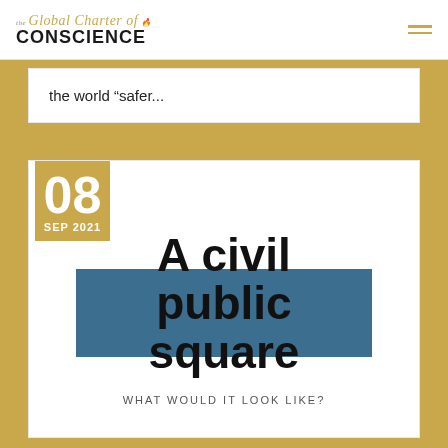the Global Charter of CONSCIENCE
the world “safer...
[Figure (illustration): Article card dated 08 SEP 2021 with title 'A civil public square' overlaid on a blue banner and subtitle 'WHAT WOULD IT LOOK LIKE?']
A civil public square
WHAT WOULD IT LOOK LIKE?